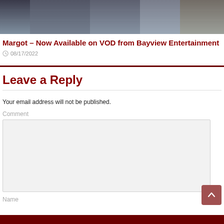[Figure (photo): Partial view of people/clothing in dark tones, top of page]
Margot – Now Available on VOD from Bayview Entertainment
08/17/2022
Leave a Reply
Your email address will not be published.
Comment
Name